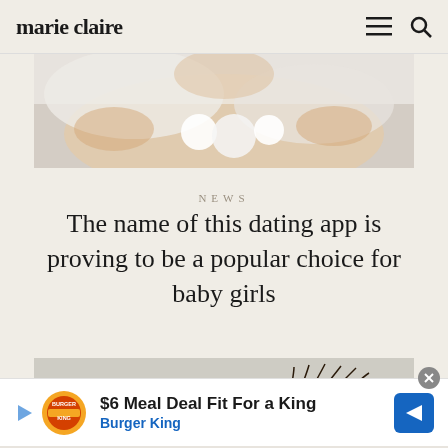marie claire
[Figure (photo): Close-up of a baby lying on a white surface with soft white toys, wrapped in a white towel]
NEWS
The name of this dating app is proving to be a popular choice for baby girls
[Figure (photo): Close-up of a child's blue eyes with long lashes]
$6 Meal Deal Fit For a King
Burger King